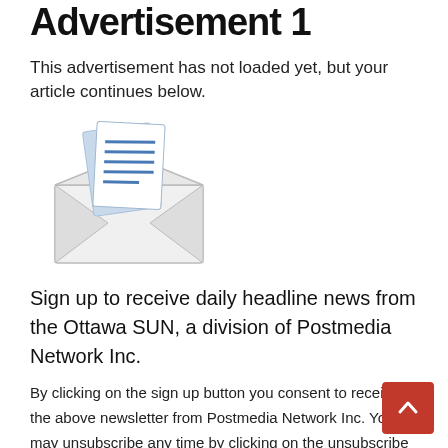Advertisement 1
This advertisement has not loaded yet, but your article continues below.
[Figure (illustration): Envelope icon with papers/letter inside, blue and white colors]
Sign up to receive daily headline news from the Ottawa SUN, a division of Postmedia Network Inc.
By clicking on the sign up button you consent to receive the above newsletter from Postmedia Network Inc. You may unsubscribe any time by clicking on the unsubscribe link at the bottom of our emails. Postmedia Network Inc. | 365 Bloor Street East, Toronto, Ontario, M4W 3L4 | 416-383-